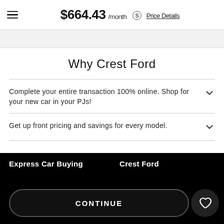$664.43 /month  Price Details
Why Crest Ford
Complete your entire transaction 100% online. Shop for your new car in your PJs!
Get up front pricing and savings for every model.
Express Car Buying
Crest Ford
CONTINUE